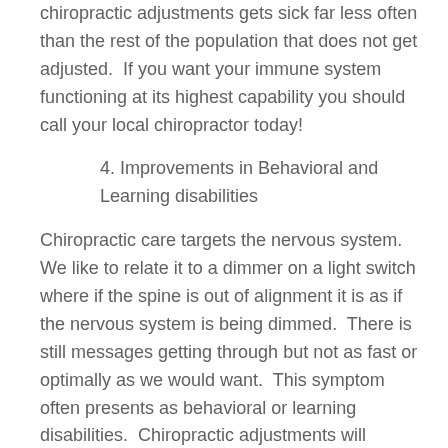chiropractic adjustments gets sick far less often than the rest of the population that does not get adjusted.  If you want your immune system functioning at its highest capability you should call your local chiropractor today!
4. Improvements in Behavioral and Learning disabilities
Chiropractic care targets the nervous system.  We like to relate it to a dimmer on a light switch where if the spine is out of alignment it is as if the nervous system is being dimmed.  There is still messages getting through but not as fast or optimally as we would want.  This symptom often presents as behavioral or learning disabilities.  Chiropractic adjustments will realign the spine to remove the interference